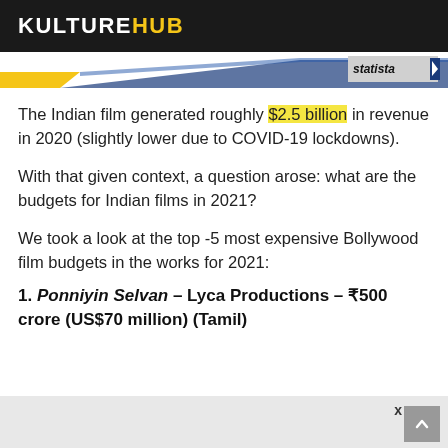KULTUREHUB
[Figure (other): Statista banner with diagonal blue and yellow stripes and Statista logo on right]
The Indian film generated roughly $2.5 billion in revenue in 2020 (slightly lower due to COVID-19 lockdowns).
With that given context, a question arose: what are the budgets for Indian films in 2021?
We took a look at the top -5 most expensive Bollywood film budgets in the works for 2021:
1. Ponniyin Selvan – Lyca Productions – ₹500 crore (US$70 million) (Tamil)
x  ▲